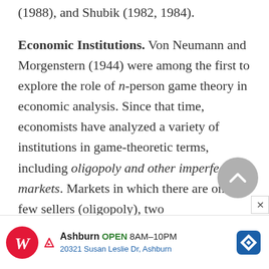(1988), and Shubik (1982, 1984).
Economic Institutions. Von Neumann and Morgenstern (1944) were among the first to explore the role of n-person game theory in economic analysis. Since that time, economists have analyzed a variety of institutions in game-theoretic terms, including oligopoly and other imperfect markets. Markets in which there are only a few sellers (oligopoly), two sellers
[Figure (other): Gray circular scroll-to-top button with chevron/caret up arrow icon, overlaid on page content]
[Figure (other): Advertisement banner for Walgreens pharmacy: Ashburn OPEN 8AM-10PM, 20321 Susan Leslie Dr, Ashburn, with Walgreens logo and blue diamond navigation icon]